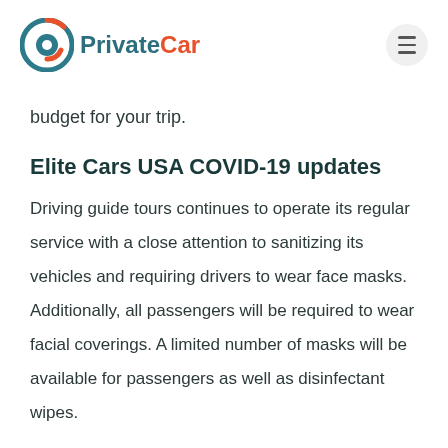PrivateCar
budget for your trip.
Elite Cars USA COVID-19 updates
Driving guide tours continues to operate its regular service with a close attention to sanitizing its vehicles and requiring drivers to wear face masks. Additionally, all passengers will be required to wear facial coverings. A limited number of masks will be available for passengers as well as disinfectant wipes.